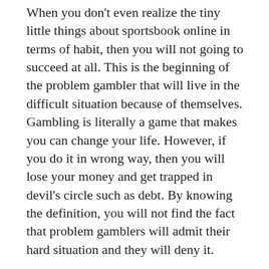When you don't even realize the tiny little things about sportsbook online in terms of habit, then you will not going to succeed at all. This is the beginning of the problem gambler that will live in the difficult situation because of themselves. Gambling is literally a game that makes you can change your life. However, if you do it in wrong way, then you will lose your money and get trapped in devil's circle such as debt. By knowing the definition, you will not find the fact that problem gamblers will admit their hard situation and they will deny it.
When you become the problem gambler, you might be trapped in the very serious addiction and you can't stop it at all. You will be addicted to this without knowing how to stop. Psychologists advice that if the players know they may have the addictive situation such as substances, alcohol or drugs, it is better for